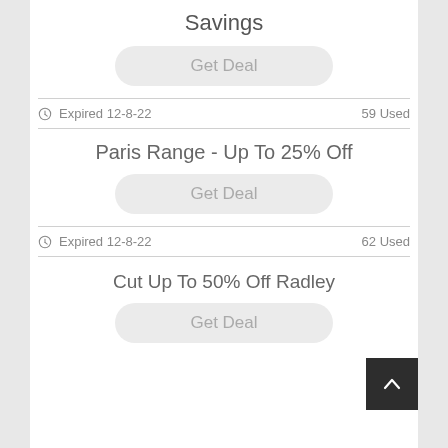Savings
Get Deal
Expired 12-8-22  59 Used
Paris Range - Up To 25% Off
Get Deal
Expired 12-8-22  62 Used
Cut Up To 50% Off Radley
Get Deal